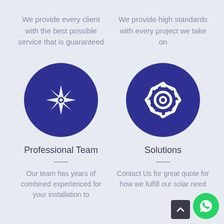We provide every client with the best possible service that is guaranteed
We provide high standards with every project we take on
[Figure (illustration): Dark blue circle with white star/snowflake icon representing Professional Team]
[Figure (illustration): Dark blue circle with white gear/settings icon representing Solutions]
Professional Team
Solutions
Our team has years of combined experienced for your installation to
Contact Us for great quote for how we fulfill our solar need